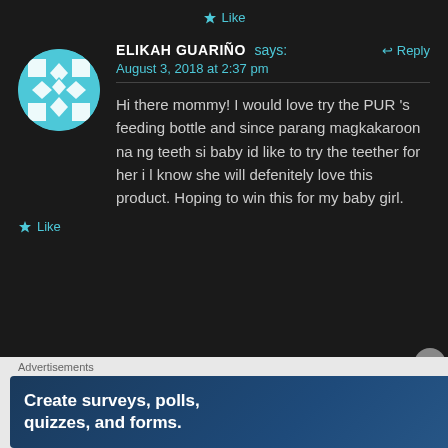★ Like
ELIKAH GUARIÑO says: August 3, 2018 at 2:37 pm ↩ Reply
Hi there mommy! I would love try the PUR 's feeding bottle and since parang magkakaroon na ng teeth si baby id like to try the teether for her i l know she will defenitely love this product. Hoping to win this for my baby girl.
★ Like
Advertisements
[Figure (screenshot): Advertisement banner: Create surveys, polls, quizzes, and forms. WordPress and SurveyGizmo logos on dark blue starry background.]